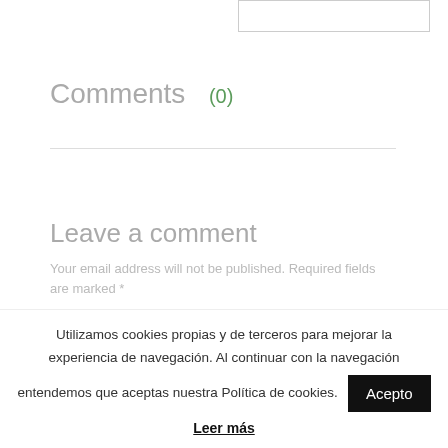[Figure (other): Input box / search field at top right]
Comments (0)
Leave a comment
Your email address will not be published. Required fields are marked *
[Figure (other): Comment text input box]
Utilizamos cookies propias y de terceros para mejorar la experiencia de navegación. Al continuar con la navegación entendemos que aceptas nuestra Política de cookies.
Acepto
Leer más